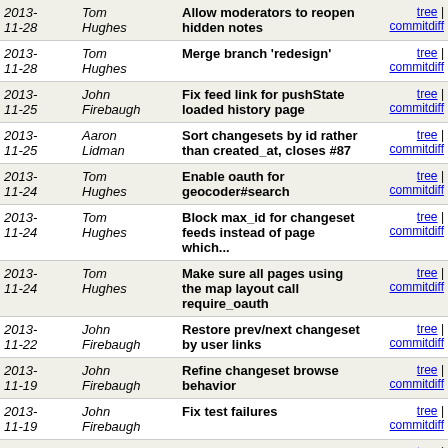| Date | Author | Message | Links |
| --- | --- | --- | --- |
| 2013-11-28 | Tom Hughes | Allow moderators to reopen hidden notes | tree | commitdiff |
| 2013-11-28 | Tom Hughes | Merge branch 'redesign' | tree | commitdiff |
| 2013-11-25 | John Firebaugh | Fix feed link for pushState loaded history page | tree | commitdiff |
| 2013-11-25 | Aaron Lidman | Sort changesets by id rather than created_at, closes #87 | tree | commitdiff |
| 2013-11-24 | Tom Hughes | Enable oauth for geocoder#search | tree | commitdiff |
| 2013-11-24 | Tom Hughes | Block max_id for changeset feeds instead of page which... | tree | commitdiff |
| 2013-11-24 | Tom Hughes | Make sure all pages using the map layout call require_oauth | tree | commitdiff |
| 2013-11-22 | John Firebaugh | Restore prev/next changeset by user links | tree | commitdiff |
| 2013-11-19 | John Firebaugh | Refine changeset browse behavior | tree | commitdiff |
| 2013-11-19 | John Firebaugh | Fix test failures | tree | commitdiff |
| 2013-11-19 | John Firebaugh | Merge branch 'master' into redesign | tree | commitdiff |
| 2013-11-19 | Aaron Lidman | Reorder changeset detail lists | tree | commitdiff |
| 2013-11-18 | Aaron Lidman | Improve changeset detail display | tree | commitdiff |